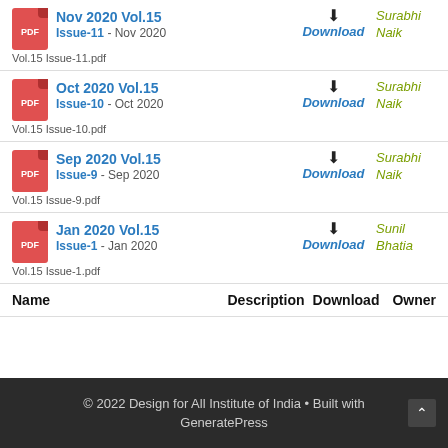Nov 2020 Vol.15 Issue-11 - Nov 2020
Vol.15 Issue-11.pdf
Download
Surabhi Naik
Oct 2020 Vol.15 Issue-10 - Oct 2020
Vol.15 Issue-10.pdf
Download
Surabhi Naik
Sep 2020 Vol.15 Issue-9 - Sep 2020
Vol.15 Issue-9.pdf
Download
Surabhi Naik
Jan 2020 Vol.15 Issue-1 - Jan 2020
Vol.15 Issue-1.pdf
Download
Sunil Bhatia
| Name | Description | Download | Owner |
| --- | --- | --- | --- |
© 2022 Design for All Institute of India • Built with GeneratePress